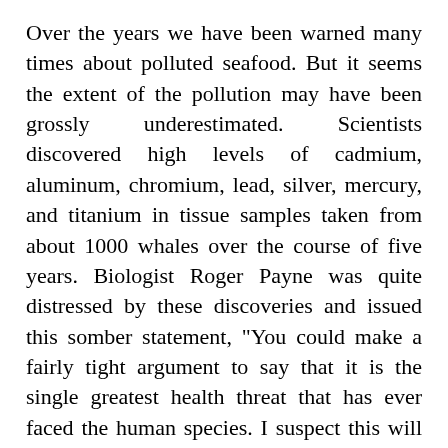Over the years we have been warned many times about polluted seafood. But it seems the extent of the pollution may have been grossly underestimated. Scientists discovered high levels of cadmium, aluminum, chromium, lead, silver, mercury, and titanium in tissue samples taken from about 1000 whales over the course of five years. Biologist Roger Payne was quite distressed by these discoveries and issued this somber statement, "You could make a fairly tight argument to say that it is the single greatest health threat that has ever faced the human species. I suspect this will shorten lives." (31)
The United Nations would like us all to become vegans. As crazy as it may sound, a report from the United Nations' Environment Programme claims that due to a world population likely to surge to 9.1 billion people by the year 2050, diets rich in meat and dairy products will no longer be sustainable. According to the report, "Impacts from agriculture are expected to increase substantially due to the population growth increasing